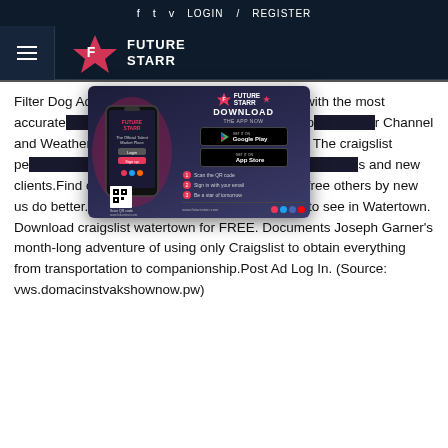f  t  v  LOGIN / REGISTER
[Figure (logo): Future Starr logo with hamburger menu icon on dark navy background]
[Figure (infographic): Future Starr app download advertisement with phone image, Download the App Now CTA, Google Play and App Store buttons, 3 steps and QR code]
Filter Dog Ads Se... Be prepared with the most accurate... NY with highs, lows, chance of p... r Channel and Weather. We hav... ch for: Products. The craigslist per... ll other sites for getting escorts an... s and new clients.Find comm... Vatertown. Please free others by new us do better. We have reviews of the best places to see in Watertown. Download craigslist watertown for FREE. Documents Joseph Garner's month-long adventure of using only Craigslist to obtain everything from transportation to companionship.Post Ad Log In. (Source: vws.domacinstvakshownow.pw)